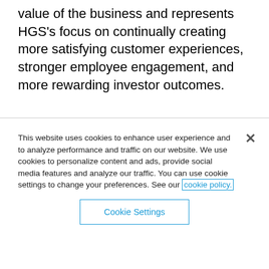value of the business and represents HGS's focus on continually creating more satisfying customer experiences, stronger employee engagement, and more rewarding investor outcomes.
This website uses cookies to enhance user experience and to analyze performance and traffic on our website. We use cookies to personalize content and ads, provide social media features and analyze our traffic. You can use cookie settings to change your preferences. See our cookie policy.
Cookie Settings